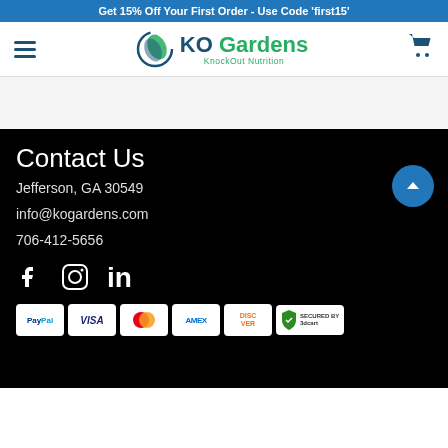Get 15% Off Your First Order - Use Code 'first15'
[Figure (logo): KO Gardens KnockOut Nutrition logo with circular leaf icon]
Contact Us
Jefferson, GA 30549
info@kogardens.com
706-412-5656
[Figure (infographic): Social media icons: Facebook, Instagram, LinkedIn]
[Figure (infographic): Payment method badges: PayPal, Visa, Mastercard, Amex, Discover, Secured by 3dcart]